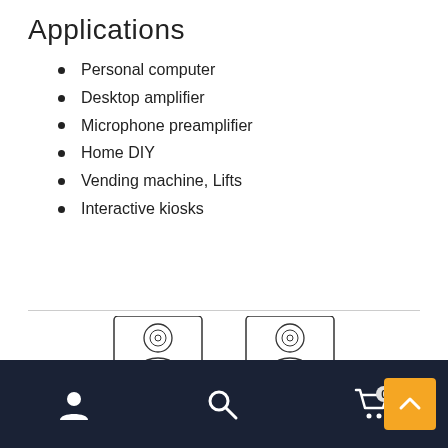Applications
Personal computer
Desktop amplifier
Microphone preamplifier
Home DIY
Vending machine, Lifts
Interactive kiosks
[Figure (illustration): Line drawing illustration of two bookshelf speakers connected by cables to a stereo amplifier/receiver unit below them]
Navigation bar with user, search, and cart (0) icons